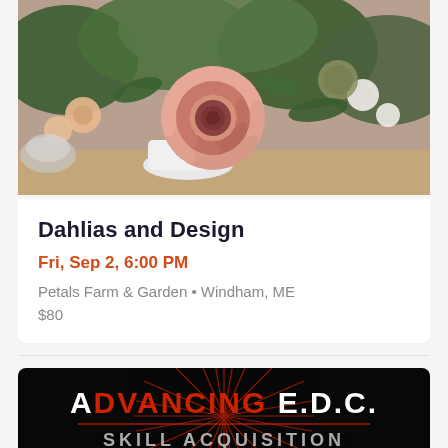[Figure (photo): A floral arrangement featuring a large pink dahlia as the centerpiece, surrounded by orange and white flowers, green foliage, and textured seed heads in a white vase on a wooden surface.]
Dahlias and Design
Fri, Sep 2, 6:00 PM
Petals Farm & Garden • Windham, ME
$80
[Figure (logo): ADVANCING E.D.C. logo with dark background, red radial burst lines, white bold text, and partial text below reading SKILL ACQUISITION]